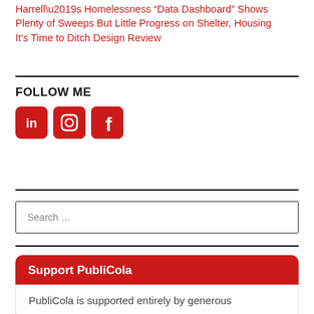Harrell’s Homelessness “Data Dashboard” Shows Plenty of Sweeps But Little Progress on Shelter, Housing
It’s Time to Ditch Design Review
FOLLOW ME
[Figure (infographic): Three social media icons (LinkedIn, Instagram, Facebook) in red rounded squares]
Search …
Support PubliCola
PubliCola is supported entirely by generous